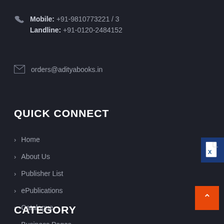Mobile: +91-9810773221 / 3
Landline: +91-0120-2484152
orders@adityabooks.in
QUICK CONNECT
Home
About Us
Publisher List
ePublications
Catalogue
Business Pages
Contact Us
CATEGORY